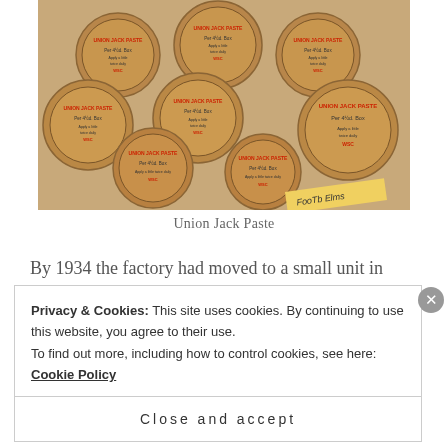[Figure (photo): A collection of round wooden boxes labeled 'Union Jack Paste' with red text, showing 'Per 4½d. Box', 'Apply a little twice daily', 'WSC'. Multiple boxes piled together with a yellow tag visible at bottom right reading 'Foots Elms'.]
Union Jack Paste
By 1934 the factory had moved to a small unit in
Privacy & Cookies: This site uses cookies. By continuing to use this website, you agree to their use.
To find out more, including how to control cookies, see here: Cookie Policy
Close and accept